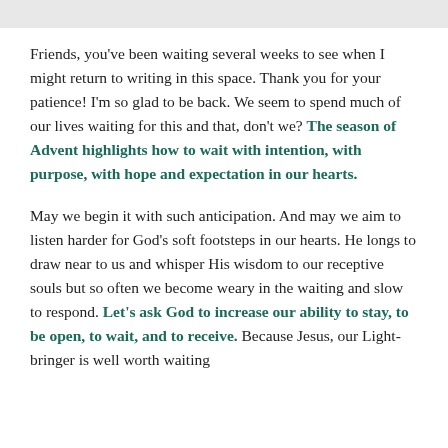Friends, you've been waiting several weeks to see when I might return to writing in this space. Thank you for your patience! I'm so glad to be back. We seem to spend much of our lives waiting for this and that, don't we? The season of Advent highlights how to wait with intention, with purpose, with hope and expectation in our hearts.
May we begin it with such anticipation. And may we aim to listen harder for God's soft footsteps in our hearts. He longs to draw near to us and whisper His wisdom to our receptive souls but so often we become weary in the waiting and slow to respond. Let's ask God to increase our ability to stay, to be open, to wait, and to receive. Because Jesus, our Light-bringer is well worth waiting